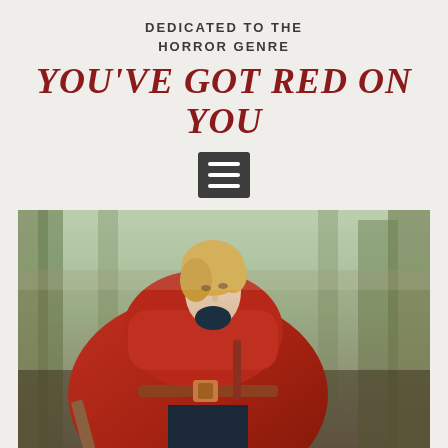DEDICATED TO THE HORROR GENRE
YOU'VE GOT RED ON YOU
[Figure (other): Hamburger menu icon button, dark gray square with three white horizontal lines]
[Figure (photo): A young blonde woman in a red hooded cape/cloak looking upward, standing in a forest, holding what appears to be a wooden stick or broom handle. This appears to be a still from the Chilling Adventures of Sabrina.]
SPELLS